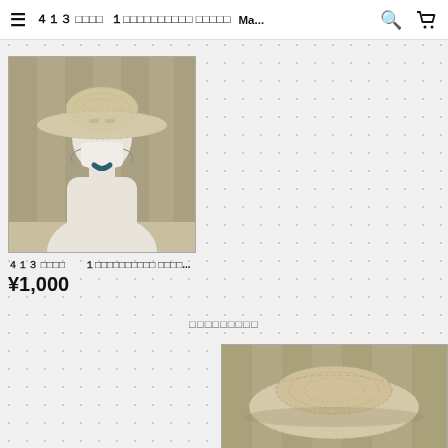≡  413 □□□□  1□□□□□□□□□□ □□□□□  Ma...  🔍  🛒
[Figure (photo): A white mannequin head wearing a wide-brim beige/cream lace sun hat, displayed against a striped background]
４１３ □□□□　１□□□□□□□□□□ □□□□...
¥1,000
□□□□□□□□□
[Figure (photo): A beige/cream lace hat laid flat, photographed from above against a striped background]